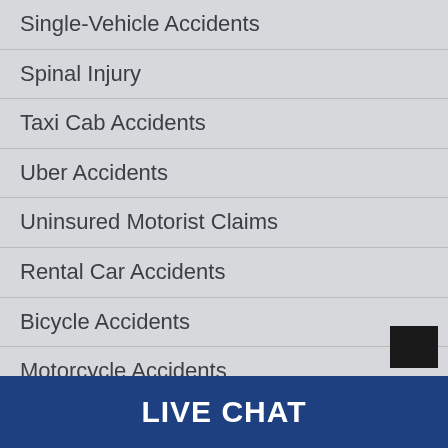Single-Vehicle Accidents
Spinal Injury
Taxi Cab Accidents
Uber Accidents
Uninsured Motorist Claims
Rental Car Accidents
Bicycle Accidents
Motorcycle Accidents
Workers' Compensation
LIVE CHAT